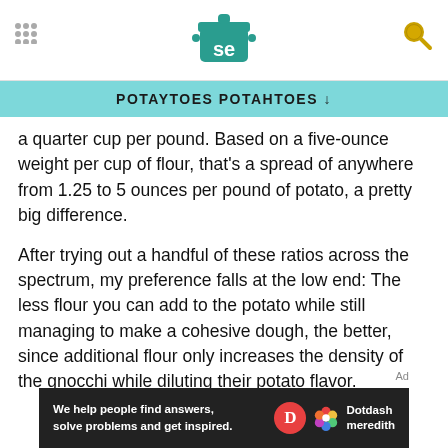Serious Eats (SE logo) header with navigation grid and search icon
POTAYTOES POTAHTOES ↓
a quarter cup per pound. Based on a five-ounce weight per cup of flour, that's a spread of anywhere from 1.25 to 5 ounces per pound of potato, a pretty big difference.
After trying out a handful of these ratios across the spectrum, my preference falls at the low end: The less flour you can add to the potato while still managing to make a cohesive dough, the better, since additional flour only increases the density of the gnocchi while diluting their potato flavor.
[Figure (logo): Dotdash Meredith advertisement banner: 'We help people find answers, solve problems and get inspired.' with Dotdash Meredith branding]